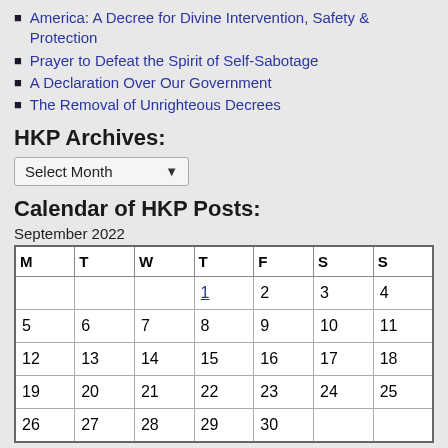America: A Decree for Divine Intervention, Safety & Protection
Prayer to Defeat the Spirit of Self-Sabotage
A Declaration Over Our Government
The Removal of Unrighteous Decrees
HKP Archives:
Select Month
Calendar of HKP Posts:
September 2022
| M | T | W | T | F | S | S |
| --- | --- | --- | --- | --- | --- | --- |
|  |  |  | 1 | 2 | 3 | 4 |
| 5 | 6 | 7 | 8 | 9 | 10 | 11 |
| 12 | 13 | 14 | 15 | 16 | 17 | 18 |
| 19 | 20 | 21 | 22 | 23 | 24 | 25 |
| 26 | 27 | 28 | 29 | 30 |  |  |